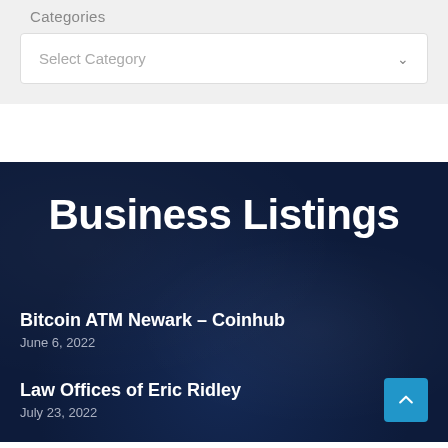Categories
[Figure (screenshot): Dropdown select box with placeholder text 'Select Category' and a chevron icon]
Business Listings
Bitcoin ATM Newark – Coinhub
June 6, 2022
Law Offices of Eric Ridley
July 23, 2022